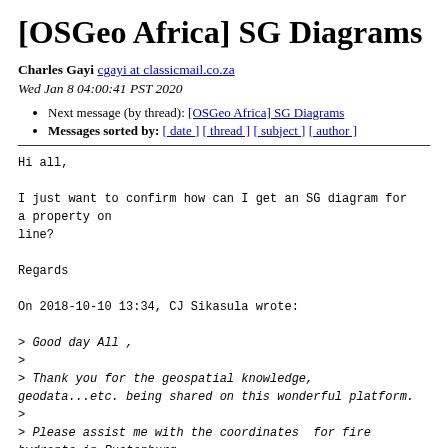[OSGeo Africa] SG Diagrams
Charles Gayi cgayi at classicmail.co.za
Wed Jan 8 04:00:41 PST 2020
Next message (by thread): [OSGeo Africa] SG Diagrams
Messages sorted by: [ date ] [ thread ] [ subject ] [ author ]
Hi all,

I just want to confirm how can I get an SG diagram for a property on
line?

Regards

On 2018-10-10 13:34, CJ Sikasula wrote:

> Good day All ,
>
> Thank you for the geospatial knowledge, geodata...etc. being shared on this wonderful platform.
>
> Please assist me with the coordinates  for fire hydrants in Rustenburg.
>